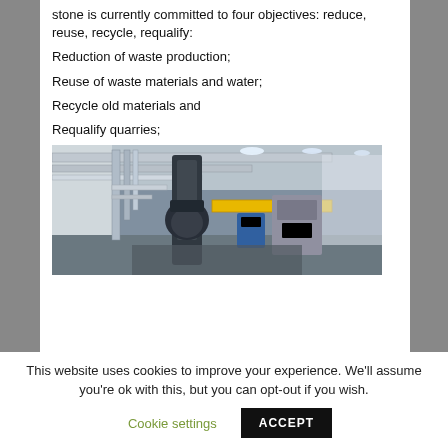stone is currently committed to four objectives: reduce, reuse, recycle, requalify:
Reduction of waste production;
Reuse of waste materials and water;
Recycle old materials and
Requalify quarries;
[Figure (photo): Industrial machinery interior showing pipes, mechanical equipment, yellow beam, and lighting in what appears to be a stone processing facility]
This website uses cookies to improve your experience. We'll assume you're ok with this, but you can opt-out if you wish.
Cookie settings  ACCEPT